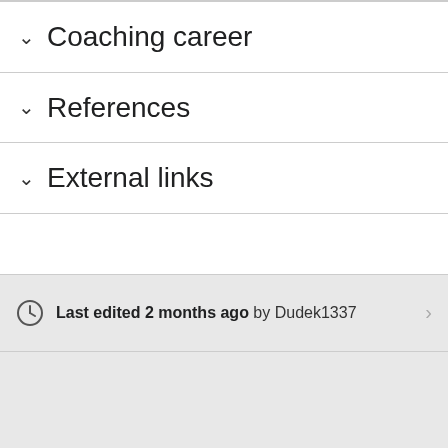Coaching career
References
External links
Last edited 2 months ago by Dudek1337